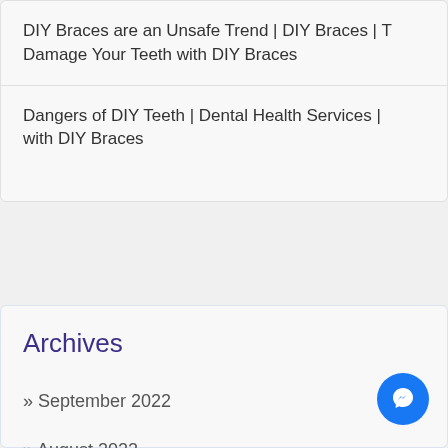DIY Braces are an Unsafe Trend | DIY Braces | T Damage Your Teeth with DIY Braces
Dangers of DIY Teeth | Dental Health Services | with DIY Braces
Archives
» September 2022
» August 2022
» July 2022